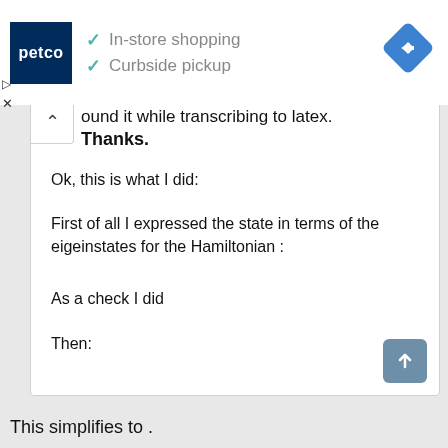[Figure (screenshot): Petco ad banner with logo, checkmarks for In-store shopping and Curbside pickup, and a blue navigation diamond icon]
ound it while transcribing to latex.
Thanks.
Ok, this is what I did:
First of all I expressed the state in terms of the eigeinstates for the Hamiltonian :
As a check I did
Then:
This simplifies to .